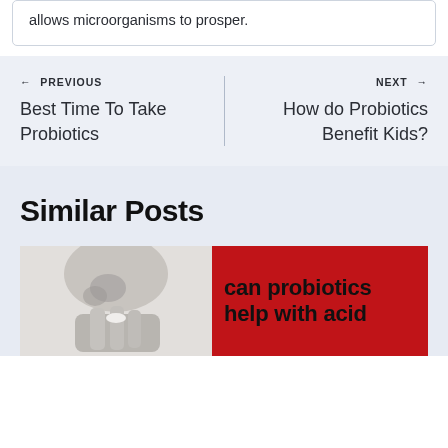allows microorganisms to prosper.
← PREVIOUS
Best Time To Take Probiotics
NEXT →
How do Probiotics Benefit Kids?
Similar Posts
[Figure (photo): Black and white photo of a person's hand holding a small pill or capsule near their mouth/nose]
[Figure (photo): Red background with bold black text reading 'can probiotics help with acid']